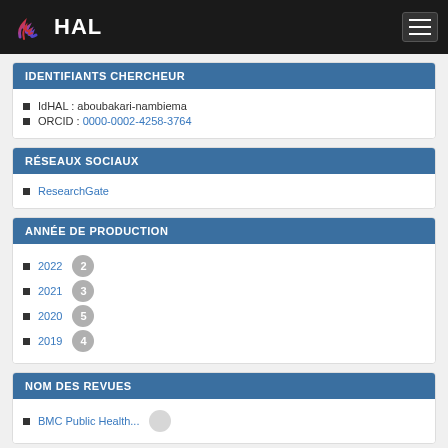HAL
IDENTIFIANTS CHERCHEUR
IdHAL : aboubakari-nambiema
ORCID : 0000-0002-4258-3764
RÉSEAUX SOCIAUX
ResearchGate
ANNÉE DE PRODUCTION
2022  2
2021  3
2020  5
2019  4
NOM DES REVUES